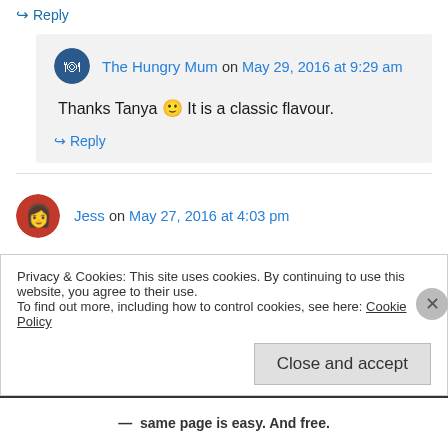↪ Reply
The Hungry Mum on May 29, 2016 at 9:29 am
Thanks Tanya 🙂 It is a classic flavour.
↪ Reply
Jess on May 27, 2016 at 4:03 pm
I think this cake looks delicious; it looks very
Privacy & Cookies: This site uses cookies. By continuing to use this website, you agree to their use. To find out more, including how to control cookies, see here: Cookie Policy
Close and accept
same page is easy. And free.